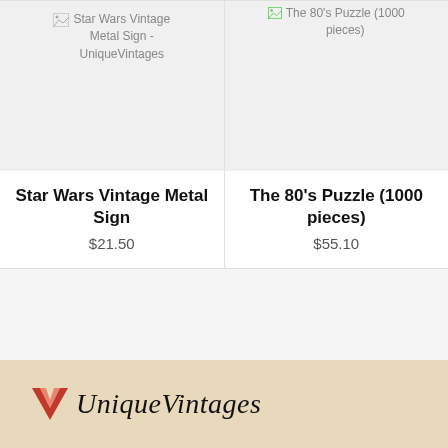[Figure (screenshot): Broken image placeholder for Star Wars Vintage Metal Sign - UniqueVintages product]
[Figure (screenshot): Broken image placeholder for The 80's Puzzle (1000 pieces) product]
Star Wars Vintage Metal Sign
$21.50
The 80's Puzzle (1000 pieces)
$55.10
UniqueVintages